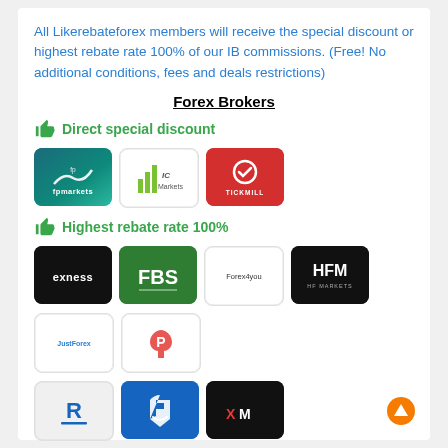All Likerebateforex members will receive the special discount or highest rebate rate 100% of our IB commissions. (Free! No additional conditions, fees and deals restrictions)
Forex Brokers
Direct special discount
[Figure (logo): fpmarkets broker logo - teal/green gradient background with white fpmarkets text and wave design]
[Figure (logo): IC Markets broker logo - white background with green bar chart and IC Markets text]
[Figure (logo): Tickmill broker logo - red background with white TICKMILL text and circular arrow icon]
Highest rebate rate 100%
[Figure (logo): Exness broker logo - black background with yellow/white Exness zigzag text]
[Figure (logo): FBS broker logo - green background with white FBS text]
[Figure (logo): Forex4you broker logo - white background with Forex4you text]
[Figure (logo): HFM (HF Markets) broker logo - black background with white HFM text]
[Figure (logo): JustForex broker logo - white background with blue JustForex text]
[Figure (logo): Pepperstone logo - white background with red P icon]
[Figure (logo): RoboForex broker logo - grey/white background with blue R icon]
[Figure (logo): FXTM broker logo - dark blue background with white hand/thumb icon]
[Figure (logo): XM broker logo - black background with red and white XM text]